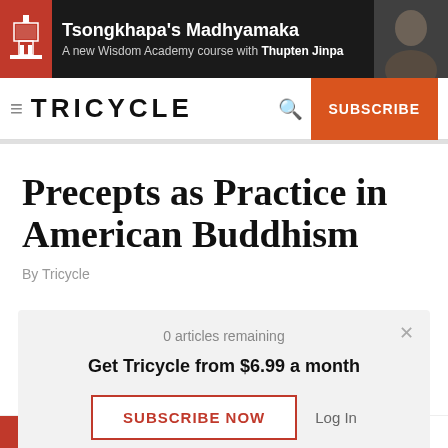[Figure (photo): Advertisement banner for Tsongkhapa's Madhyamaka, a Wisdom Academy course with Thupten Jinpa, showing logo, text, and a photo of Thupten Jinpa on dark background]
TRICYCLE
Precepts as Practice in American Buddhism
By Tricycle
0 articles remaining
Get Tricycle from $6.99 a month
SUBSCRIBE NOW
Log In
his guest blog post comes our way from